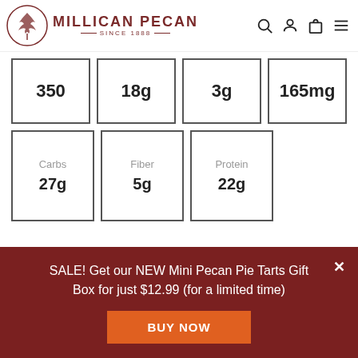[Figure (logo): Millican Pecan logo — circular tree emblem with text MILLICAN PECAN SINCE 1888]
| 350 | 18g | 3g | 165mg |
| Carbs
27g | Fiber
5g | Protein
22g |  |
SALE! Get our NEW Mini Pecan Pie Tarts Gift Box for just $12.99 (for a limited time)
BUY NOW